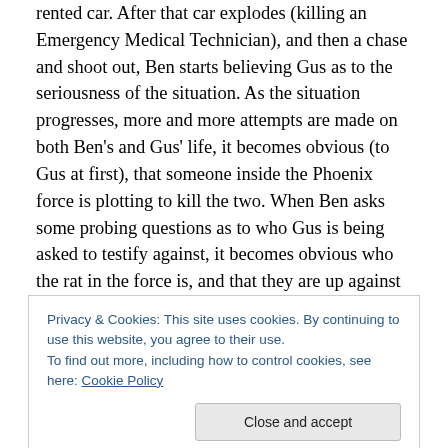rented car. After that car explodes (killing an Emergency Medical Technician), and then a chase and shoot out, Ben starts believing Gus as to the seriousness of the situation. As the situation progresses, more and more attempts are made on both Ben's and Gus' life, it becomes obvious (to Gus at first), that someone inside the Phoenix force is plotting to kill the two. When Ben asks some probing questions as to who Gus is being asked to testify against, it becomes obvious who the rat in the force is, and that they are up against something very big, and the only chance for either of them is to get to the Phoenix City Hall,
Privacy & Cookies: This site uses cookies. By continuing to use this website, you agree to their use.
To find out more, including how to control cookies, see here: Cookie Policy
taking. The rest is lined with a line on all sides and